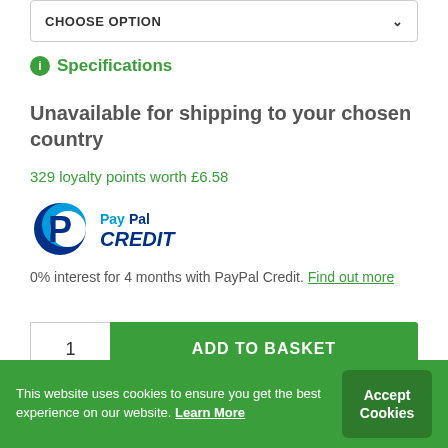CHOOSE OPTION
Specifications
Unavailable for shipping to your chosen country
329 loyalty points worth £6.58
[Figure (logo): PayPal CREDIT logo with blue P symbol]
0% interest for 4 months with PayPal Credit. Find out more
1
ADD TO BASKET
Share 0  Tweet  Save  Share
This website uses cookies to ensure you get the best experience on our website. Learn More
Accept Cookies